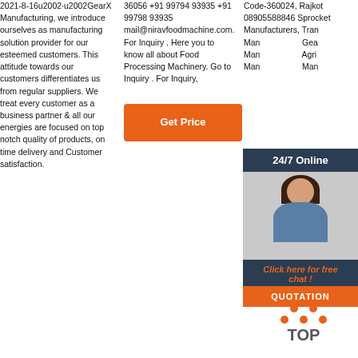2021-8-16u2002·u2002GearX Manufacturing, we introduce ourselves as manufacturing solution provider for our esteemed customers. This attitude towards our customers differentiates us from regular suppliers. We treat every customer as a business partner & all our energies are focused on top notch quality of products, on time delivery and Customer satisfaction.
36056 +91 99794 93935 +91 99798 93935 mail@niravfoodmachine.com. For Inquiry . Here you to know all about Food Processing Machinery. Go to Inquiry . For Inquiry,
[Figure (other): Get Price orange button]
Code-360024, Rajkot 08905588846 Sprocket Manufacturers, Transmission Chain Manufacturers, Gear Manufacturers, Agricultural Gear Manufacturers, Many Manufacturers
[Figure (infographic): 24/7 Online chat widget with woman wearing headset, 'Click here for free chat!' text, and QUOTATION button]
[Figure (other): Get Price orange button (partially visible)]
[Figure (infographic): TOP icon with orange dots arranged as triangle above the word TOP]